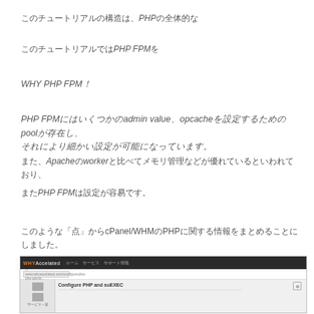このチュートリアルの構造は、PHPの全体的な
このチュートリアルではPHP FPMを
WHY PHP FPM！
PHP FPMにはいくつかのadmin value、opcacheを設定するためのpoolが存在し、それにより細かい設定が可能になっています。
また、Apacheのworkerと比べてメモリ管理などが優れているといわれており、
またPHP FPMは設定が容易です。
このような「点」からcPanel/WHMのPHPに関する情報をまとめることにしました。
[Figure (screenshot): Screenshot of WHMAccelerated interface showing cPanel/WHM PHP configuration page]